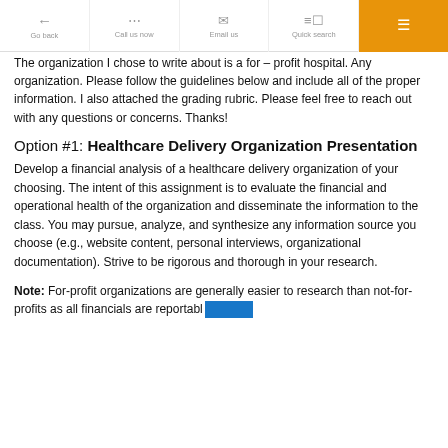Go back | Call us now | Email us | Quick search | [menu]
The organization I chose to write about is a for – profit hospital. Any organization. Please follow the guidelines below and include all of the proper information. I also attached the grading rubric. Please feel free to reach out with any questions or concerns. Thanks!
Option #1: Healthcare Delivery Organization Presentation
Develop a financial analysis of a healthcare delivery organization of your choosing. The intent of this assignment is to evaluate the financial and operational health of the organization and disseminate the information to the class. You may pursue, analyze, and synthesize any information source you choose (e.g., website content, personal interviews, organizational documentation). Strive to be rigorous and thorough in your research.
Note: For-profit organizations are generally easier to research than not-for-profits as all financials are reportable